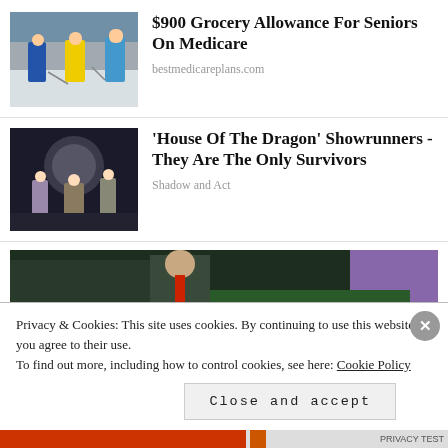[Figure (photo): People shopping in a grocery store aisle with shopping carts]
$900 Grocery Allowance For Seniors On Medicare
bestmedicareplans.com
[Figure (photo): Scene from House of the Dragon TV show with characters in medieval costumes]
'House Of The Dragon' Showrunners - They Are The Only Survivors
Shadow and Act
[Figure (photo): Partial image of a person at what appears to be a formal event]
Privacy & Cookies: This site uses cookies. By continuing to use this website, you agree to their use.
To find out more, including how to control cookies, see here: Cookie Policy
Close and accept